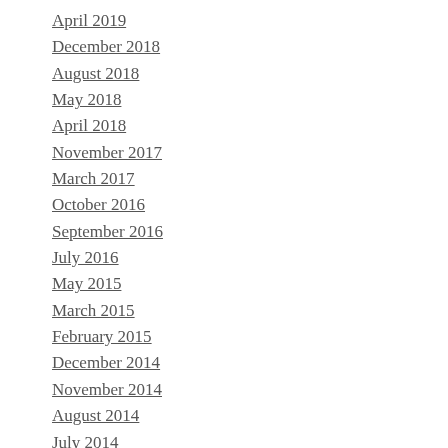April 2019
December 2018
August 2018
May 2018
April 2018
November 2017
March 2017
October 2016
September 2016
July 2016
May 2015
March 2015
February 2015
December 2014
November 2014
August 2014
July 2014
May 2014
March 2014